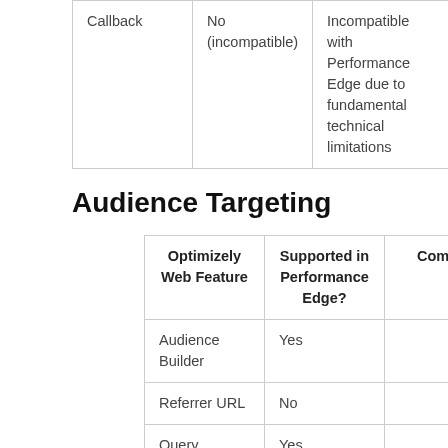| Callback | No (incompatible) | Incompatible with Performance Edge due to fundamental technical limitations |
Audience Targeting
| Optimizely Web Feature | Supported in Performance Edge? | Comments |
| --- | --- | --- |
| Audience Builder | Yes |  |
| Referrer URL | No |  |
| Query Parameter | Yes |  |